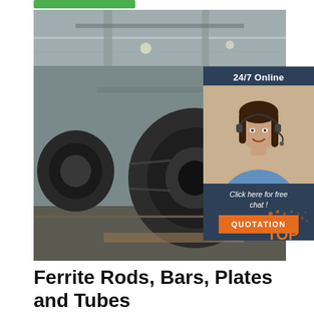[Figure (photo): Steel coil rolls stacked in an industrial warehouse/factory setting]
[Figure (infographic): Customer service overlay: '24/7 Online' header, photo of smiling woman with headset, 'Click here for free chat!' text, and orange QUOTATION button]
[Figure (logo): TOP badge/logo with orange dotted design in bottom-right corner of the photo]
Ferrite Rods, Bars, Plates and Tubes